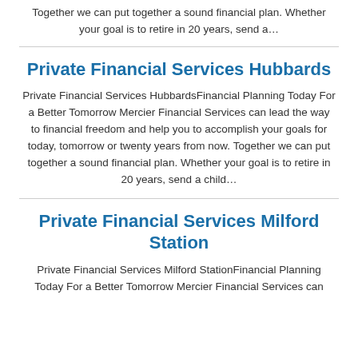Together we can put together a sound financial plan. Whether your goal is to retire in 20 years, send a...
Private Financial Services Hubbards
Private Financial Services HubbardsFinancial Planning Today For a Better Tomorrow Mercier Financial Services can lead the way to financial freedom and help you to accomplish your goals for today, tomorrow or twenty years from now. Together we can put together a sound financial plan. Whether your goal is to retire in 20 years, send a child...
Private Financial Services Milford Station
Private Financial Services Milford StationFinancial Planning Today For a Better Tomorrow Mercier Financial Services can